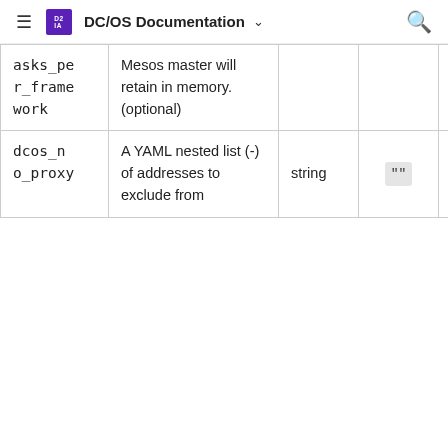DC/OS Documentation
| Parameter | Description | Type | Default | Required |
| --- | --- | --- | --- | --- |
| asks_per_framework | Mesos master will retain in memory. (optional) |  |  |  |
| dcos_no_proxy | A YAML nested list (-) of addresses to exclude from | string | "" | no |